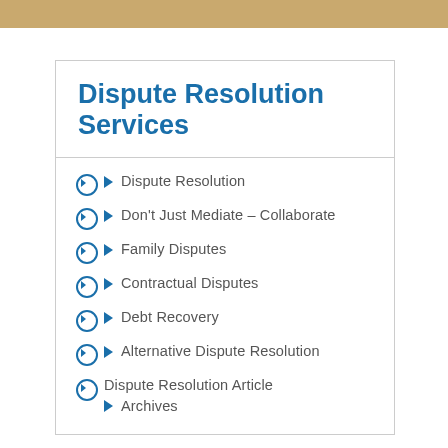Dispute Resolution Services
Dispute Resolution
Don't Just Mediate – Collaborate
Family Disputes
Contractual Disputes
Debt Recovery
Alternative Dispute Resolution
Dispute Resolution Article Archives